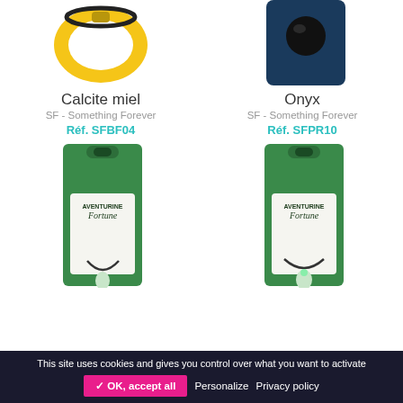[Figure (photo): Product image of Calcite miel bracelet/ring on yellow background, top portion visible]
[Figure (photo): Product image of Onyx pendant on navy background, top portion visible]
Calcite miel
SF - Something Forever
Réf. SFBF04
Onyx
SF - Something Forever
Réf. SFPR10
[Figure (photo): Product image of Aventurine Fortune necklace in green packaging, bottom portion visible]
[Figure (photo): Product image of Aventurine Fortune necklace in green packaging, bottom portion visible]
This site uses cookies and gives you control over what you want to activate
✓ OK, accept all
Personalize
Privacy policy